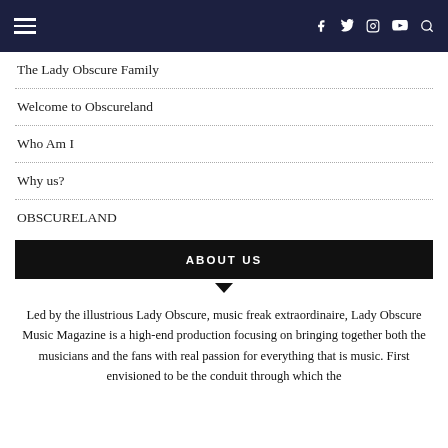Navigation bar with hamburger menu and social icons (Facebook, Twitter, Instagram, YouTube, Search)
The Lady Obscure Family
Welcome to Obscureland
Who Am I
Why us?
OBSCURELAND
ABOUT US
Led by the illustrious Lady Obscure, music freak extraordinaire, Lady Obscure Music Magazine is a high-end production focusing on bringing together both the musicians and the fans with real passion for everything that is music. First envisioned to be the conduit through which the